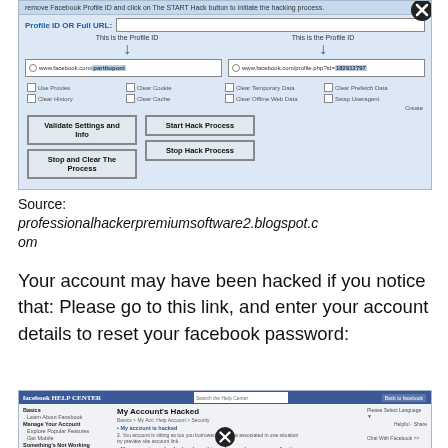[Figure (screenshot): Screenshot of a fake Facebook hacking tool UI with fields for Profile ID or Full URL, checkboxes for proxies/cache/cookies, and buttons: Validate Settings and Info, Start Hack Process, Stop and Clear The Process, Stop Hack Process]
Source:
professionalhackerpremiumsoftware2.blogspot.com
Your account may have been hacked if you notice that: Please go to this link, and enter your account details to reset your facebook password:
[Figure (screenshot): Screenshot of Facebook Help Center page titled 'My Account's Hacked' showing sidebar navigation with Basics, Learn About Facebook, Manage Your Account, Explore Popular Features, Get Mobile, Something's Not Working, Report Abuse or Policy Violations, and main content about hacked accounts with two bullet points]